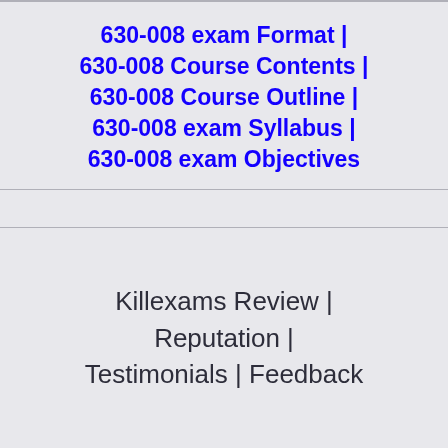630-008 exam Format | 630-008 Course Contents | 630-008 Course Outline | 630-008 exam Syllabus | 630-008 exam Objectives
Killexams Review | Reputation | Testimonials | Feedback